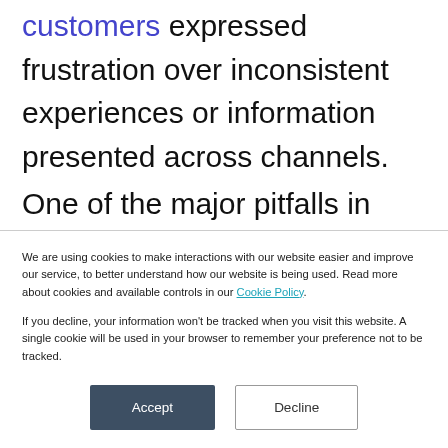customers expressed frustration over inconsistent experiences or information presented across channels.

One of the major pitfalls in keeping experiences consistent is branded content; both in outbound marketing channels as well
We are using cookies to make interactions with our website easier and improve our service, to better understand how our website is being used. Read more about cookies and available controls in our Cookie Policy.

If you decline, your information won't be tracked when you visit this website. A single cookie will be used in your browser to remember your preference not to be tracked.